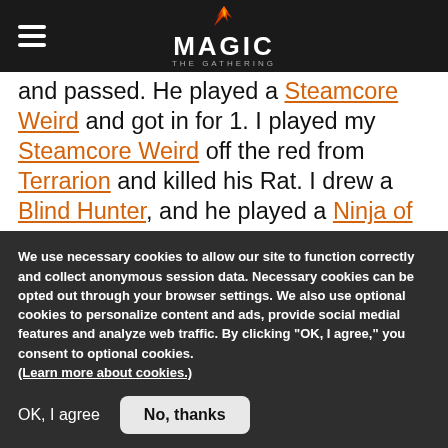Magic: The Gathering navigation bar with hamburger menu and logo
and passed. He played a Steamcore Weird and got in for 1. I played my Steamcore Weird off the red from Terrarion and killed his Rat. I drew a Blind Hunter, and he played a Ninja of the Deep Hours. I drew Chromatic Sphere, played it, used it for red, and played another Steamcore Weird killing his Ninja. He played another Ravenous Rats, and I discarded another land. I played my Blind Hunter and a Boronsplitter. He eventually...
We use necessary cookies to allow our site to function correctly and collect anonymous session data. Necessary cookies can be opted out through your browser settings. We also use optional cookies to personalize content and ads, provide social medial features and analyze web traffic. By clicking “OK, I agree,” you consent to optional cookies. (Learn more about cookies.)
OK, I agree
No, thanks